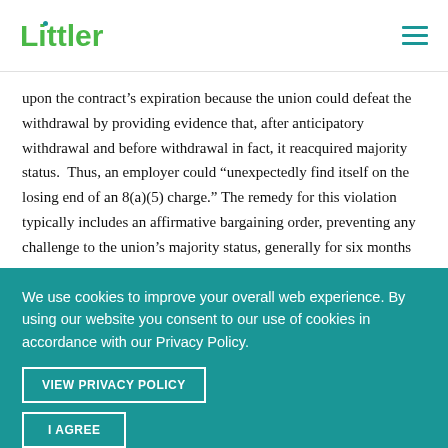Littler
upon the contract’s expiration because the union could defeat the withdrawal by providing evidence that, after anticipatory withdrawal and before withdrawal in fact, it reacquired majority status. Thus, an employer could “unexpectedly find itself on the losing end of an 8(a)(5) charge.” The remedy for this violation typically includes an affirmative bargaining order, preventing any challenge to the union’s majority status, generally for six months
We use cookies to improve your overall web experience. By using our website you consent to our use of cookies in accordance with our Privacy Policy.